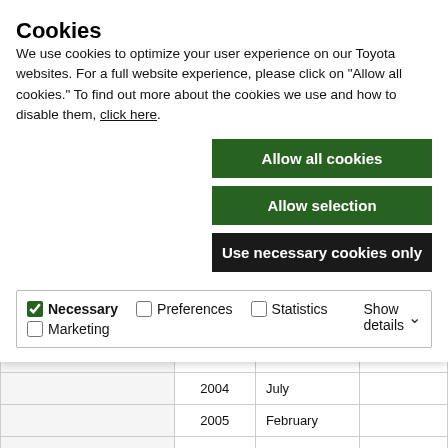Cookies
We use cookies to optimize your user experience on our Toyota websites. For a full website experience, please click on “Allow all cookies.” To find out more about the cookies we use and how to disable them, click here.
Allow all cookies
Allow selection
Use necessary cookies only
Necessary  Preferences  Statistics  Marketing  Show details
|  | Year | Month | Info |
| --- | --- | --- | --- |
|  |  | December |  |
|  | 2004 | July |  |
|  | 2005 | February |  |
|  |  | August |  |
|  |  | August |  |